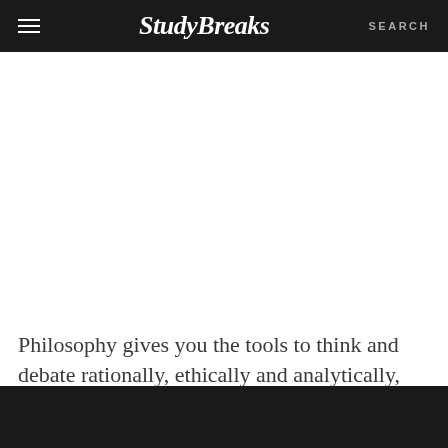≡  StudyBreaks  SEARCH
Philosophy gives you the tools to think and debate rationally, ethically and analytically,